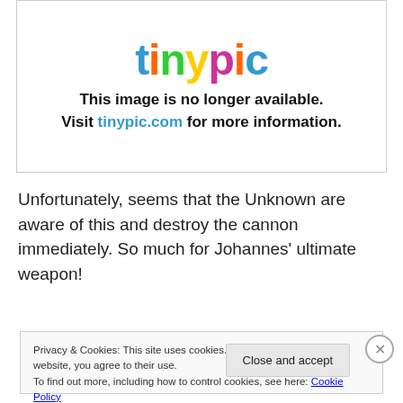[Figure (screenshot): Tinypic image unavailable placeholder showing the tinypic logo and text 'This image is no longer available. Visit tinypic.com for more information.']
Unfortunately, seems that the Unknown are aware of this and destroy the cannon immediately. So much for Johannes' ultimate weapon!
Privacy & Cookies: This site uses cookies. By continuing to use this website, you agree to their use.
To find out more, including how to control cookies, see here: Cookie Policy
Close and accept